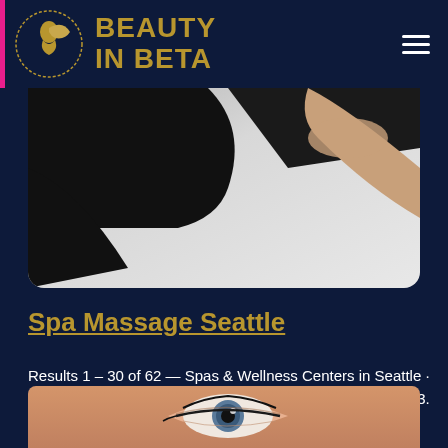BEAUTY IN BETA
[Figure (photo): Close-up photo of a massage or spa treatment, showing bare skin/arm against a light gray background with dark draped fabric]
Spa Massage Seattle
Results 1 – 30 of 62 — Spas & Wellness Centers in Seattle · 1. The Spa at Hotel 1000 · 2. Penelope & the Beauty Bar · 3. CueFit Seattle · 4. Lev ...
[Figure (photo): Close-up photo of a human eye with makeup, partially visible at the bottom of the page]